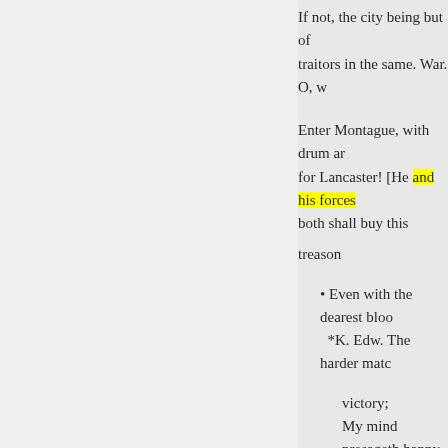If not, the city being but of traitors in the same. War. O, w
Enter Montague, with drum ar for Lancaster! [He and his forces both shall buy this treason
Even with the dearest bloo
*K. Edw. The harder matc
victory;
My mind presageth happy g
Enter Somerset, with dru
Som. Somerset, Somerset,
[He and his forc
Glo. Two of thy name, bot
Have sold their lives unto th
And thou shalt be the third,
Enter Clarence, with drum anc
War. And lo, where George